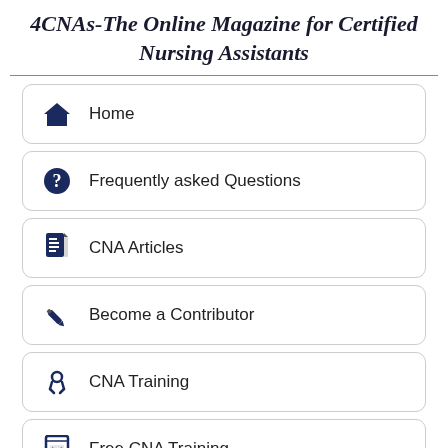4CNAs-The Online Magazine for Certified Nursing Assistants
Home
Frequently asked Questions
CNA Articles
Become a Contributor
CNA Training
Free CNA Training
Advertising